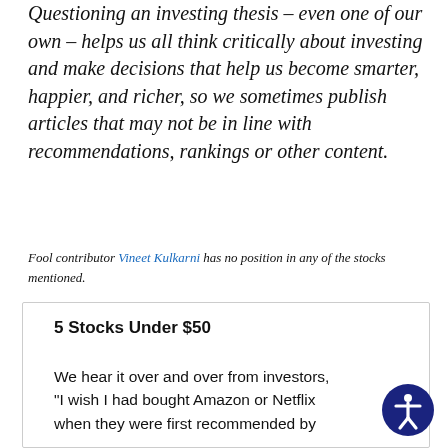Questioning an investing thesis – even one of our own – helps us all think critically about investing and make decisions that help us become smarter, happier, and richer, so we sometimes publish articles that may not be in line with recommendations, rankings or other content.
Fool contributor Vineet Kulkarni has no position in any of the stocks mentioned.
5 Stocks Under $50
We hear it over and over from investors, "I wish I had bought Amazon or Netflix when they were first recommended by